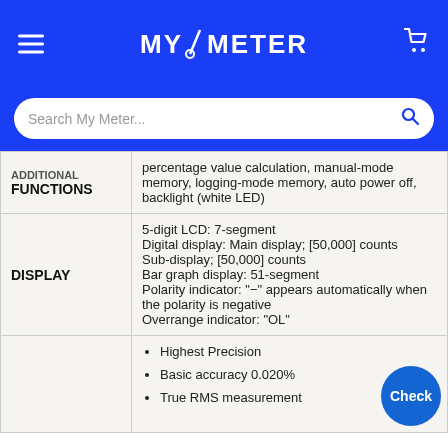MY/METER
| Feature | Description |
| --- | --- |
| ADDITIONAL FUNCTIONS | percentage value calculation, manual-mode memory, logging-mode memory, auto power off, backlight (white LED) |
| DISPLAY | 5-digit LCD: 7-segment
Digital display: Main display; [50,000] counts
Sub-display; [50,000] counts
Bar graph display: 51-segment
Polarity indicator: "-" appears automatically when the polarity is negative
Overrange indicator: "OL" |
|  | Highest Precision
Basic accuracy 0.020%
True RMS measurement |